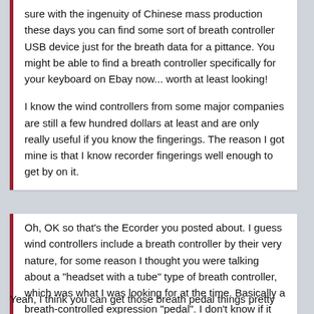sure with the ingenuity of Chinese mass production these days you can find some sort of breath controller USB device just for the breath data for a pittance. You might be able to find a breath controller specifically for your keyboard on Ebay now... worth at least looking!

I know the wind controllers from some major companies are still a few hundred dollars at least and are only really useful if you know the fingerings. The reason I got mine is that I know recorder fingerings well enough to get by on it.
Oh, OK so that's the Ecorder you posted about. I guess wind controllers include a breath controller by their very nature, for some reason I thought you were talking about a "headset with a tube" type of breath controller, which was what I was looking for at the time. Basically a breath-controlled expression "pedal". I don't know if it would make sense for me to get an actual wind controller, as I'm completely unfamiliar with keyed wind instruments.
Yeah, I think you can get those breath pedal things pretty